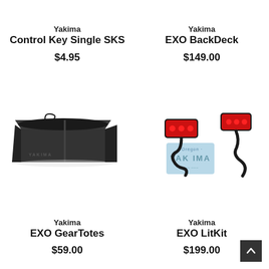Yakima
Control Key Single SKS
$4.95
Yakima
EXO BackDeck
$149.00
[Figure (photo): Black fabric storage organizer box with dividers, Yakima branded]
[Figure (photo): Yakima EXO LitKit: two red tail lights with mounts and an Oregon Yakima license plate]
Yakima
EXO GearTotes
$59.00
Yakima
EXO LitKit
$199.00